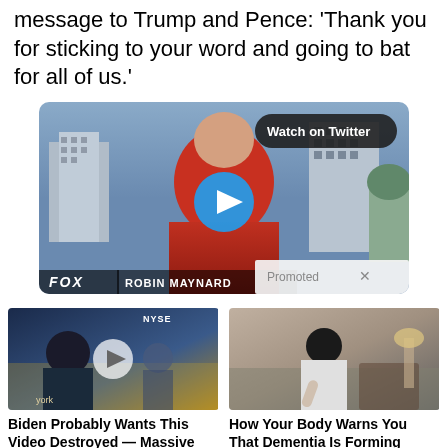message to Trump and Pence: 'Thank you for sticking to your word and going to bat for all of us.'
[Figure (screenshot): Video thumbnail showing a man in a red shirt on Fox News with 'Watch on Twitter' badge and play button. Promoted label at bottom right. ROBIN MAYNARD lower third.]
[Figure (screenshot): Ad thumbnail: video of man at NYSE desk with play button. Biden Probably Wants This Video Destroyed — Massive Currency Upheaval Has Started. Fire icon 82,246.]
[Figure (screenshot): Ad thumbnail: elderly person sitting. How Your Body Warns You That Dementia Is Forming. Fire icon 61,381.]